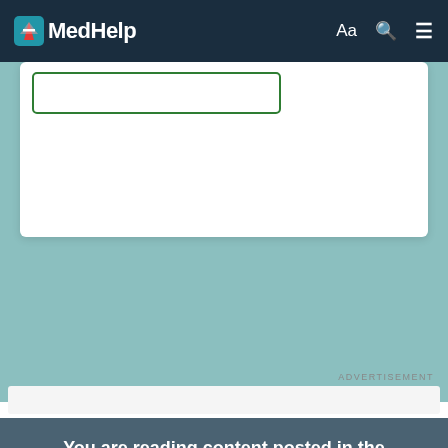MedHelp | Aa | search | menu
[Figure (screenshot): White card area with a green-outlined button]
[Figure (other): Teal/muted blue-green background area serving as advertisement space]
ADVERTISEMENT
[Figure (other): White/light grey advertisement bar]
You are reading content posted in the